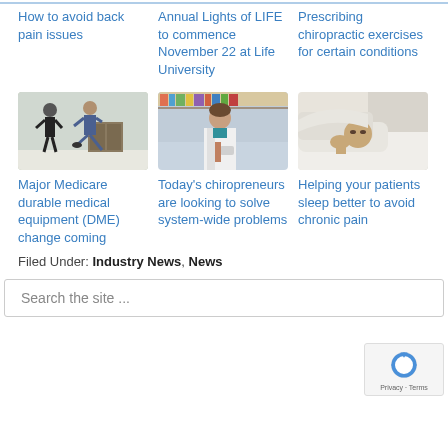How to avoid back pain issues
Annual Lights of LIFE to commence November 22 at Life University
Prescribing chiropractic exercises for certain conditions
[Figure (photo): Person doing physical therapy exercise with a trainer in a clinical setting]
[Figure (photo): Female healthcare professional in white coat smiling, holding a tablet]
[Figure (photo): Person lying in bed with blanket pulled over head, looking tired]
Major Medicare durable medical equipment (DME) change coming
Today's chiropreneurs are looking to solve system-wide problems
Helping your patients sleep better to avoid chronic pain
Filed Under: Industry News, News
Search the site ...